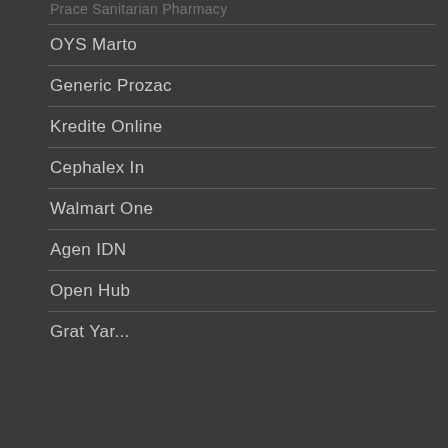OYS Marto
Generic Prozac
Kredite Online
Cephalex In
Walmart One
Agen IDN
Open Hub
Grat Yar...